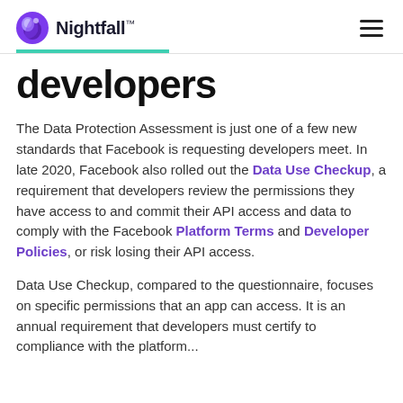Nightfall™
developers
The Data Protection Assessment is just one of a few new standards that Facebook is requesting developers meet. In late 2020, Facebook also rolled out the Data Use Checkup, a requirement that developers review the permissions they have access to and commit their API access and data to comply with the Facebook Platform Terms and Developer Policies, or risk losing their API access.
Data Use Checkup, compared to the questionnaire, focuses on specific permissions that an app can access. It is an annual requirement that developers must certify to compliance with the platform...